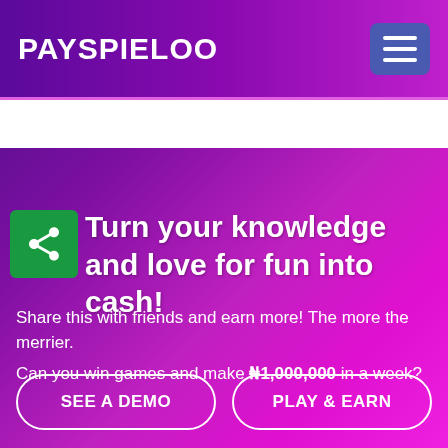PAYSPIELOO
[Figure (screenshot): White horizontal strip below header navigation]
Turn your knowledge and love for fun into cash!
Share this with friends and earn more! The more the merrier.
Can you win games and make ₦1,000,000 in a week?
SEE A DEMO
PLAY & EARN